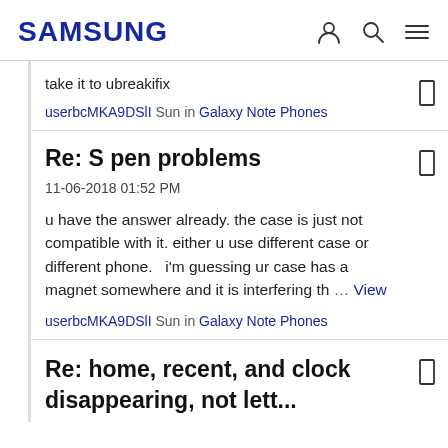SAMSUNG
take it to ubreakifix
userbcMKA9DSlI  Sun  in  Galaxy Note Phones
Re: S pen problems
11-06-2018 01:52 PM
u have the answer already. the case is just not compatible with it. either u use different case or different phone.   i'm guessing ur case has a magnet somewhere and it is interfering th … View
userbcMKA9DSlI  Sun  in  Galaxy Note Phones
Re: home, recent, and clock disappearing, not lett...